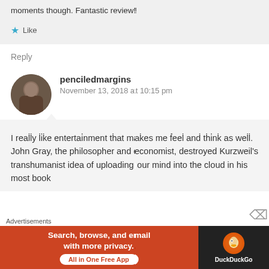moments though. Fantastic review!
Like
Reply
penciledmargins
November 13, 2018 at 10:15 pm
I really like entertainment that makes me feel and think as well. John Gray, the philosopher and economist, destroyed Kurzweil's transhumanist idea of uploading our mind into the cloud in his most book
Advertisements
[Figure (screenshot): DuckDuckGo advertisement banner: 'Search, browse, and email with more privacy. All in One Free App' with DuckDuckGo logo on dark background]